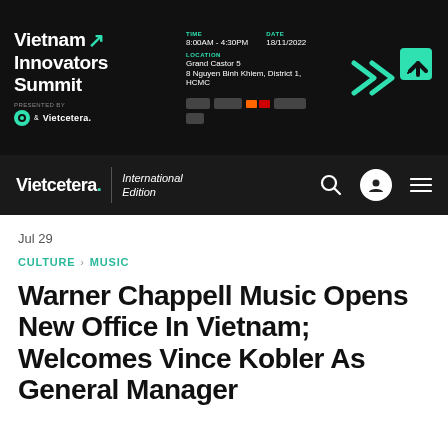[Figure (screenshot): Vietnam Innovators Summit banner advertisement showing event details: Time 8:00AM-4:30PM, Date 18/11/2022, Location Grand Castor 5, 8 Nguyen Binh Khiem, District 1, HCMC. Teal arrow graphics and sponsor logos visible.]
Vietcetera. International Edition
Jul 29
CULTURE > MUSIC
Warner Chappell Music Opens New Office In Vietnam; Welcomes Vince Kobler As General Manager